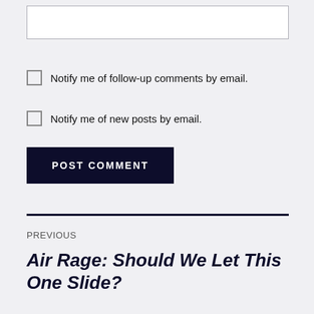[input box]
Notify me of follow-up comments by email.
Notify me of new posts by email.
POST COMMENT
PREVIOUS
Air Rage: Should We Let This One Slide?